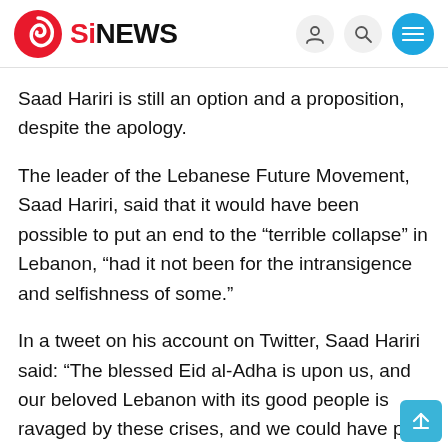SiNEWS
Saad Hariri is still an option and a proposition, despite the apology.
The leader of the Lebanese Future Movement, Saad Hariri, said that it would have been possible to put an end to the “terrible collapse” in Lebanon, “had it not been for the intransigence and selfishness of some.”
In a tweet on his account on Twitter, Saad Hariri said: “The blessed Eid al-Adha is upon us, and our beloved Lebanon with its good people is ravaged by these crises, and we could have put an end to this terrible collapse, had it not been for the intransigence and selfishness